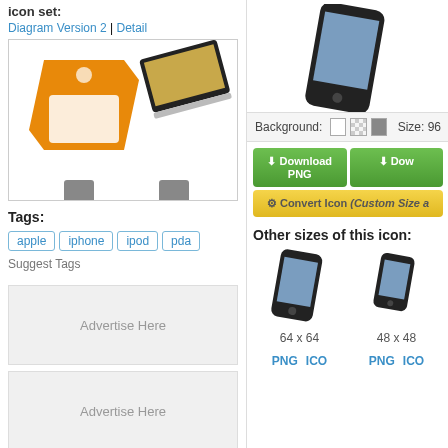icon set:
Diagram Version 2 | Detail
[Figure (illustration): Icon preview box showing an orange price tag icon and a tilted laptop/tablet icon, with smaller dark icons partially visible at the bottom]
Tags:
apple
iphone
ipod
pda
Suggest Tags
Advertise Here
Advertise Here
[Figure (photo): Phone/iPod touch icon preview at top of right column, partially cut off]
Background:  Size: 96
Download PNG
Download
Convert Icon (Custom Size a
Other sizes of this icon:
[Figure (illustration): 64x64 phone/iPod touch icon]
64 x 64
PNG  ICO
[Figure (illustration): 48x48 phone/iPod touch icon]
48 x 48
PNG  ICO